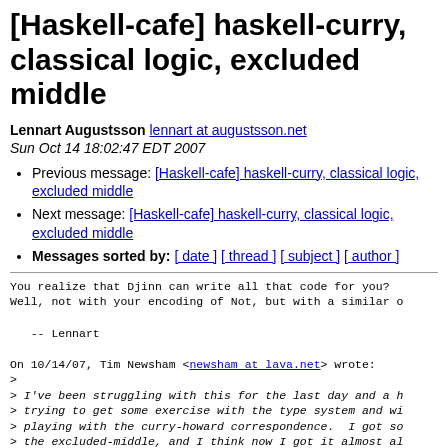[Haskell-cafe] haskell-curry, classical logic, excluded middle
Lennart Augustsson  lennart at augustsson.net
Sun Oct 14 18:02:47 EDT 2007
Previous message: [Haskell-cafe] haskell-curry, classical logic, excluded middle
Next message: [Haskell-cafe] haskell-curry, classical logic, excluded middle
Messages sorted by: [ date ] [ thread ] [ subject ] [ author ]
You realize that Djinn can write all that code for you?
Well, not with your encoding of Not, but with a similar o

   -- Lennart

On 10/14/07, Tim Newsham <newsham at lava.net> wrote:
>
> I've been struggling with this for the last day and a h
> trying to get some exercise with the type system and wi
> playing with the curry-howard correspondence.  I got so
> the excluded-middle, and I think now I got it almost al
> there, but its still not quite right.  Is this error